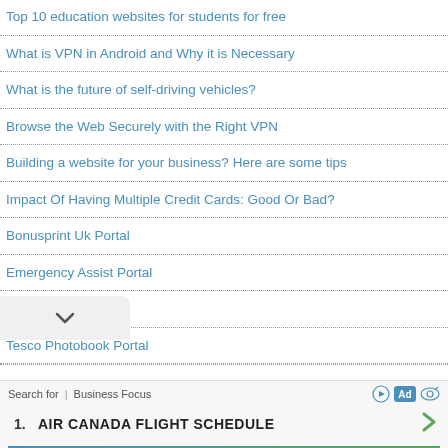Top 10 education websites for students for free
What is VPN in Android and Why it is Necessary
What is the future of self-driving vehicles?
Browse the Web Securely with the Right VPN
Building a website for your business? Here are some tips
Impact Of Having Multiple Credit Cards: Good Or Bad?
Bonusprint Uk Portal
Emergency Assist Portal
Duinrell Portal
Tesco Photobook Portal
Search for | Business Focus  1. AIR CANADA FLIGHT SCHEDULE